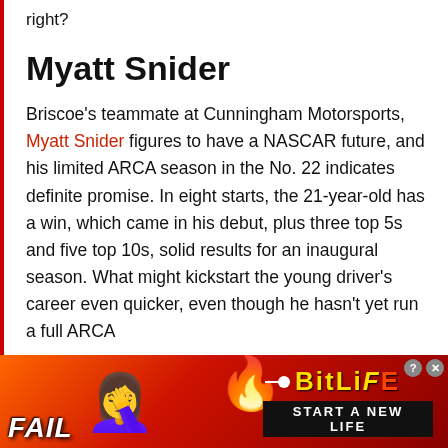right?
Myatt Snider
Briscoe's teammate at Cunningham Motorsports, Myatt Snider figures to have a NASCAR future, and his limited ARCA season in the No. 22 indicates definite promise. In eight starts, the 21-year-old has a win, which came in his debut, plus three top 5s and five top 10s, solid results for an inaugural season. What might kickstart the young driver's career even quicker, even though he hasn't yet run a full ARCA
[Figure (other): Advertisement banner for BitLife mobile game showing FAIL text, facepalm emoji, flame emoji, BitLife logo with bullet icon, and 'START A NEW LIFE' tagline on red/orange background]